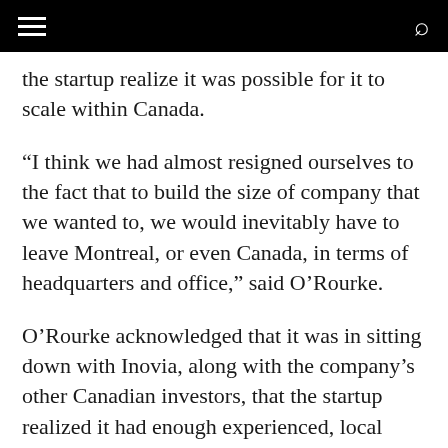[navigation bar with hamburger menu and search icon]
the startup realize it was possible for it to scale within Canada.
“I think we had almost resigned ourselves to the fact that to build the size of company that we wanted to, we would inevitably have to leave Montreal, or even Canada, in terms of headquarters and office,” said O’Rourke.
O’Rourke acknowledged that it was in sitting down with Inovia, along with the company’s other Canadian investors, that the startup realized it had enough experienced, local support to avoid the stereotypical move to Silicon Valley, seen by the likes of fellow